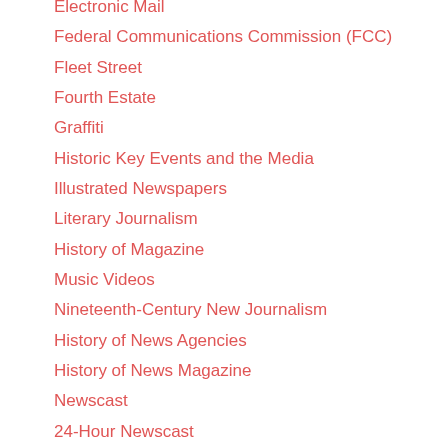Electronic Mail
Federal Communications Commission (FCC)
Fleet Street
Fourth Estate
Graffiti
Historic Key Events and the Media
Illustrated Newspapers
Literary Journalism
History of Magazine
Music Videos
Nineteenth-Century New Journalism
History of News Agencies
History of News Magazine
Newscast
24-Hour Newscast
Antecedents of Newspaper
History of Newspaper
Paperback Fiction